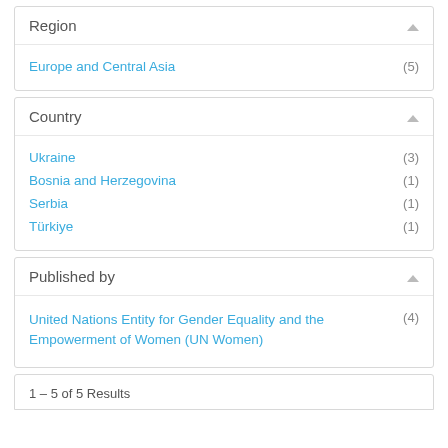Region
Europe and Central Asia (5)
Country
Ukraine (3)
Bosnia and Herzegovina (1)
Serbia (1)
Türkiye (1)
Published by
United Nations Entity for Gender Equality and the Empowerment of Women (UN Women) (4)
1 – 5 of 5 Results